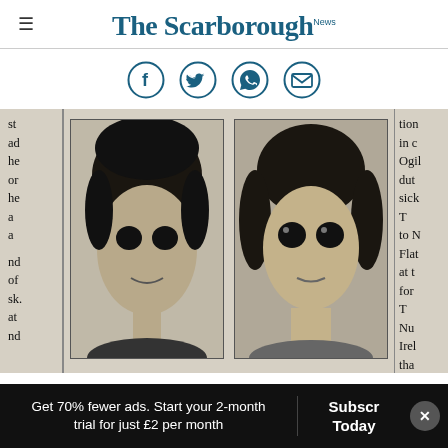The Scarborough News
[Figure (infographic): Social share icons: Facebook, Twitter, WhatsApp, Email — circular teal outlined buttons]
[Figure (photo): Two black-and-white newspaper portrait photographs of young people, partially cropped on left and right by adjacent text columns. Left column shows partial text fragments: st, ad, he, or, he, a, a, nd, of, sk., at, nd. Right column shows partial text: tion, in c, Ogil, dut, sick, T, to N, Flat, at t, for, T, Nur, Irel, tha]
Get 70% fewer ads. Start your 2-month trial for just £2 per month
Subscribe Today